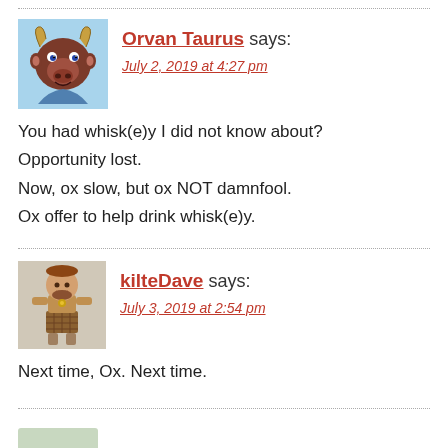Orvan Taurus says: July 2, 2019 at 4:27 pm
You had whisk(e)y I did not know about? Opportunity lost. Now, ox slow, but ox NOT damnfool. Ox offer to help drink whisk(e)y.
kilteDave says: July 3, 2019 at 2:54 pm
Next time, Ox. Next time.